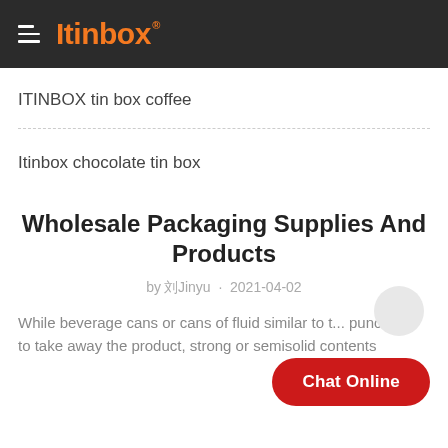Itinbox
ITINBOX tin box coffee
Itinbox chocolate tin box
Wholesale Packaging Supplies And Products
by 刘Jinyu · 2021-04-02
While beverage cans or cans of fluid similar to ... punctured to take away the product, strong or semisolid contents